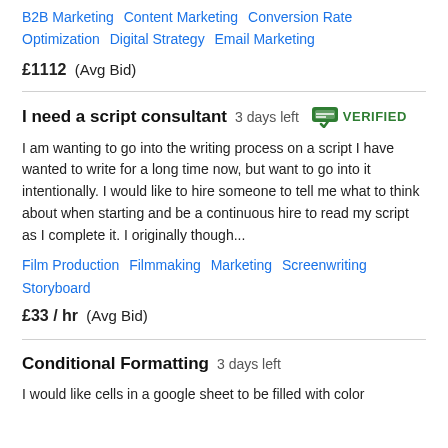B2B Marketing   Content Marketing   Conversion Rate Optimization   Digital Strategy   Email Marketing
£1112  (Avg Bid)
I need a script consultant   3 days left   VERIFIED
I am wanting to go into the writing process on a script I have wanted to write for a long time now, but want to go into it intentionally. I would like to hire someone to tell me what to think about when starting and be a continuous hire to read my script as I complete it. I originally though...
Film Production   Filmmaking   Marketing   Screenwriting   Storyboard
£33 / hr   (Avg Bid)
Conditional Formatting   3 days left
I would like cells in a google sheet to be filled with color